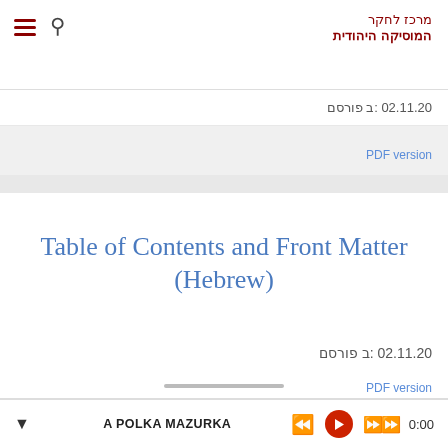מרכז לחקר המוסיקה היהודית
פורסם ב: 02.11.20
PDF version
Table of Contents and Front Matter (Hebrew)
פורסם ב: 02.11.20
PDF version
A POLKA MAZURKA  0:00